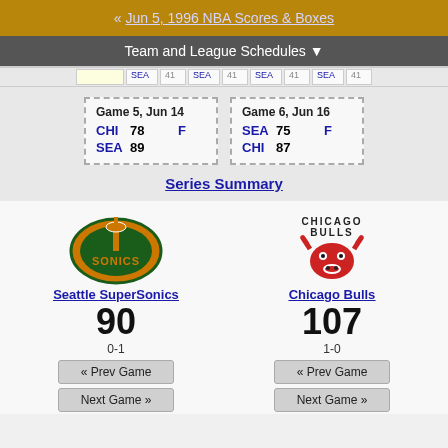« Jun 5, 1996 NBA Scores & Boxes
Team and League Schedules ▼
| Game 5, Jun 14 | Game 6, Jun 16 |
| --- | --- |
| CHI 78 F | SEA 75 F |
| SEA 89 | CHI 87 |
Series Summary
[Figure (logo): Seattle SuperSonics logo]
Seattle SuperSonics
90
0-1
[Figure (logo): Chicago Bulls logo]
Chicago Bulls
107
1-0
« Prev Game
Next Game »
« Prev Game
Next Game »